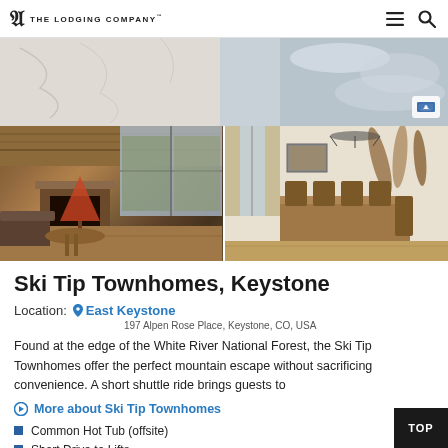The Lodging Company
[Figure (photo): Top banner photo of ski lodge interior with marble/stone texture and snowy exterior view]
[Figure (photo): Left: Lodge living room with high wood ceiling, fireplace, and large windows. Right: Dining room with wooden table and chairs, wall decor.]
Ski Tip Townhomes, Keystone
Location: East Keystone
197 Alpen Rose Place, Keystone, CO, USA
Found at the edge of the White River National Forest, the Ski Tip Townhomes offer the perfect mountain escape without sacrificing convenience. A short shuttle ride brings guests to
More about Ski Tip Townhomes
Common Hot Tub (offsite)
Short Drive to Lifts